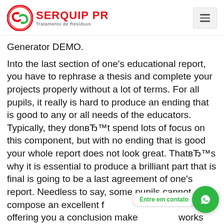[Figure (logo): Serquip PR logo with circular icon and text 'SERQUIP PR Tratamento de Resíduos']
Generator DEMO.
Into the last section of one's educational report, you have to rephrase a thesis and complete your projects properly without a lot of terms. For all pupils, it really is hard to produce an ending that is good to any or all needs of the educators. Typically, they donвЂ™t spend lots of focus on this component, but with no ending that is good your whole report does not look great. ThatвЂ™s why it is essential to produce a brilliant part that is final is going to be a last agreement of one's report. Needless to say, some pupils cannot compose an excellent final part, that is why offering you a conclusion make is this e works extremely just, and you will certainly be capable of making an effective last agreement because of the online